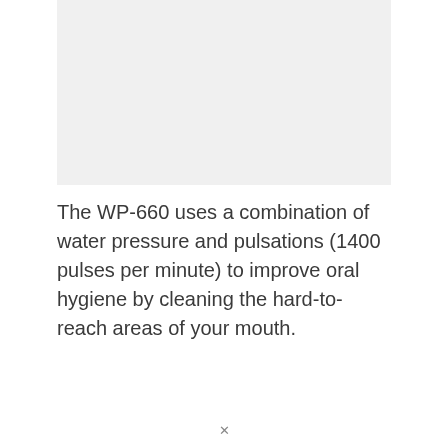[Figure (other): Light gray placeholder image area]
The WP-660 uses a combination of water pressure and pulsations (1400 pulses per minute) to improve oral hygiene by cleaning the hard-to-reach areas of your mouth.